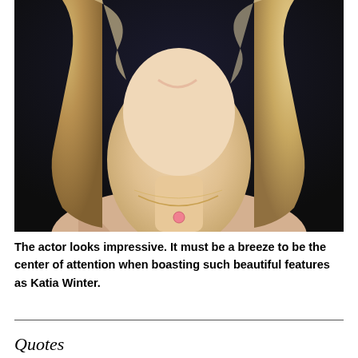[Figure (photo): Close-up portrait photo of Katia Winter, a blonde actress smiling, wearing a necklace with a pink pendant, against a dark background.]
The actor looks impressive. It must be a breeze to be the center of attention when boasting such beautiful features as Katia Winter.
Quotes